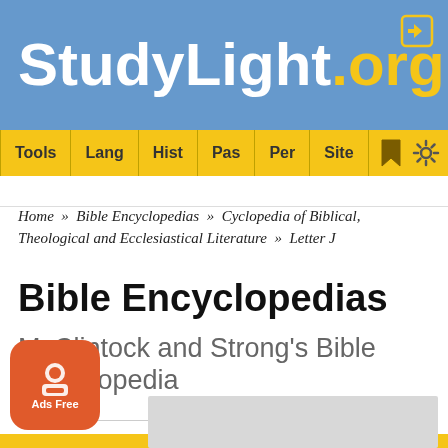StudyLight.org
Tools | Lang | Hist | Pas | Per | Site
Home » Bible Encyclopedias » Cyclopedia of Biblical, Theological and Ecclesiastical Literature » Letter J
Bible Encyclopedias
McClintock and Strong's Bible Encyclopedia
Jeshua
[Figure (other): Ads Free badge overlay in bottom-left corner]
[Figure (other): Gray rectangle overlay partially obscuring content at bottom]